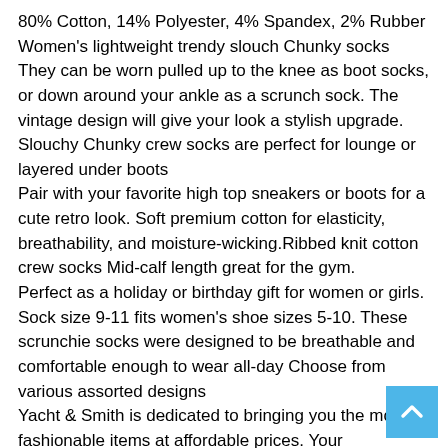80% Cotton, 14% Polyester, 4% Spandex, 2% Rubber
Women's lightweight trendy slouch Chunky socks They can be worn pulled up to the knee as boot socks, or down around your ankle as a scrunch sock. The vintage design will give your look a stylish upgrade. Slouchy Chunky crew socks are perfect for lounge or layered under boots
Pair with your favorite high top sneakers or boots for a cute retro look. Soft premium cotton for elasticity, breathability, and moisture-wicking.Ribbed knit cotton crew socks Mid-calf length great for the gym.
Perfect as a holiday or birthday gift for women or girls. Sock size 9-11 fits women's shoe sizes 5-10. These scrunchie socks were designed to be breathable and comfortable enough to wear all-day Choose from various assorted designs
Yacht & Smith is dedicated to bringing you the most fashionable items at affordable prices. Your satisfaction with these scrunch socks for women is important to us. If you are